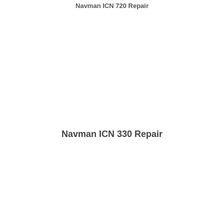Navman ICN 720 Repair
Navman ICN 330 Repair